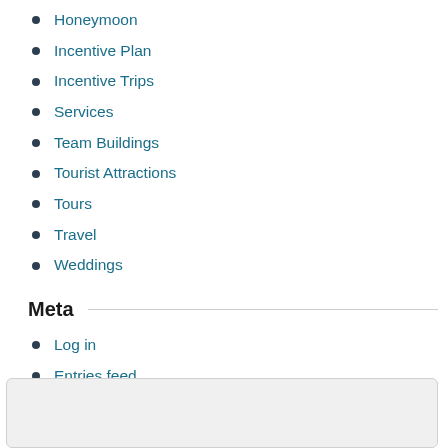Honeymoon
Incentive Plan
Incentive Trips
Services
Team Buildings
Tourist Attractions
Tours
Travel
Weddings
Meta
Log in
Entries feed
Comments feed
WordPress.org